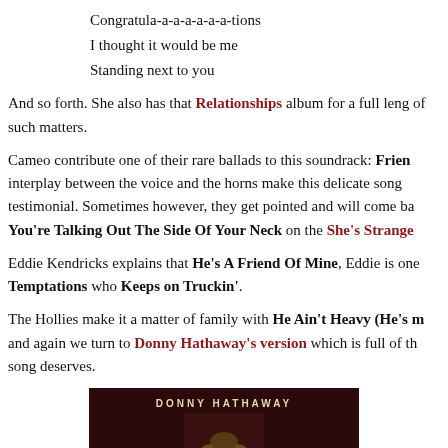Congratula-a-a-a-a-a-a-tions
I thought it would be me
Standing next to you
And so forth. She also has that Relationships album for a full length treatment of such matters.
Cameo contribute one of their rare ballads to this soundtrack: Frien... interplay between the voice and the horns make this delicate song testimonial. Sometimes however, they get pointed and will come back with You're Talking Out The Side Of Your Neck on the She's Strange...
Eddie Kendricks explains that He's A Friend Of Mine, Eddie is one of the Temptations who Keeps on Truckin'.
The Hollies make it a matter of family with He Ain't Heavy (He's m... and again we turn to Donny Hathaway's version which is full of the song deserves.
[Figure (photo): Album cover or promotional photo for Donny Hathaway showing his name at top and a portrait/silhouette below]